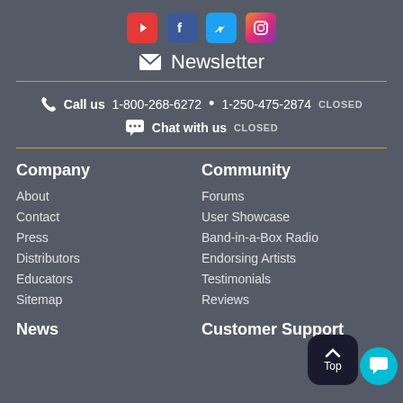[Figure (other): Social media icons row: YouTube (red), Facebook (blue), Twitter (light blue), Instagram (gradient)]
✉ Newsletter
📞 Call us  1-800-268-6272  •  1-250-475-2874  CLOSED
💬 Chat with us  CLOSED
Company
About
Contact
Press
Distributors
Educators
Sitemap
Community
Forums
User Showcase
Band-in-a-Box Radio
Endorsing Artists
Testimonials
Reviews
News
Customer Support